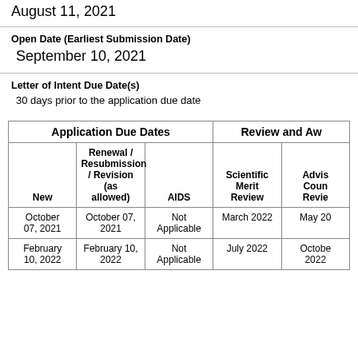August 11, 2021
Open Date (Earliest Submission Date)
September 10, 2021
Letter of Intent Due Date(s)
30 days prior to the application due date
| New | Renewal / Resubmission / Revision (as allowed) | AIDS | Scientific Merit Review | Advisory Council Review |
| --- | --- | --- | --- | --- |
| October 07, 2021 | October 07, 2021 | Not Applicable | March 2022 | May 20... |
| February 10, 2022 | February 10, 2022 | Not Applicable | July 2022 | October 2022 |